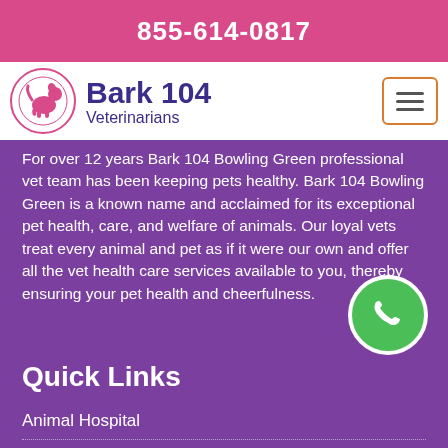855-614-0817
[Figure (logo): Bark 104 Veterinarians logo with dog silhouette in pink circle]
For over 12 years Bark 104 Bowling Green professional vet team has been keeping pets healthy. Bark 104 Bowling Green is a known name and acclaimed for its exceptional pet health, care, and welfare of animals. Our loyal vets treat every animal and pet as if it were our own and offer all the vet health care services available to you, thereby ensuring your pet health and cheerfulness.
Quick Links
Animal Hospital
Bird Vet
Dog Dentist